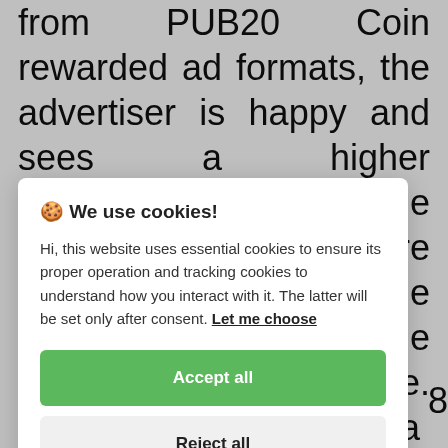from PUB20 Coin rewarded ad formats, the advertiser is happy and sees a higher performance from the advertising. The more viewers who join the PUB20 Coin network, the more the revenue. PUB20 Coin uses a random amount of the
🍪 We use cookies!
Hi, this website uses essential cookies to ensure its proper operation and tracking cookies to understand how you interact with it. The latter will be set only after consent. Let me choose
Accept all
Reject all